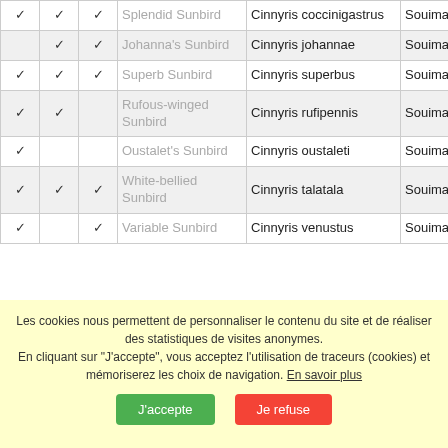| ✓ | ✓ | ✓ | Common Name | Scientific Name | French Name |
| --- | --- | --- | --- | --- | --- |
| ✓ | ✓ | ✓ | Splendid Sunbird | Cinnyris coccinigastrus | Souiman éclatant |
|  | ✓ | ✓ | Johanna's Sunbird | Cinnyris johannae | Souiman de Johanna |
| ✓ | ✓ | ✓ | Superb Sunbird | Cinnyris superbus | Souiman superbe |
| ✓ |  | ✓ | Rufous-winged Sunbird | Cinnyris rufipennis | Souiman ailes rousses |
| ✓ |  |  | Oustalet's Sunbird | Cinnyris oustaleti | Souiman d'Oustalet |
| ✓ | ✓ | ✓ | White-bellied Sunbird | Cinnyris talatala | Souiman ventre blanc |
| ✓ |  | ✓ | Variable Sunbird | Cinnyris venustus | Souiman... |
Les cookies nous permettent de personnaliser le contenu du site et de réaliser des statistiques de visites anonymes. En cliquant sur "J'accepte", vous acceptez l'utilisation de traceurs (cookies) et mémoriserez les choix de navigation. En savoir plus